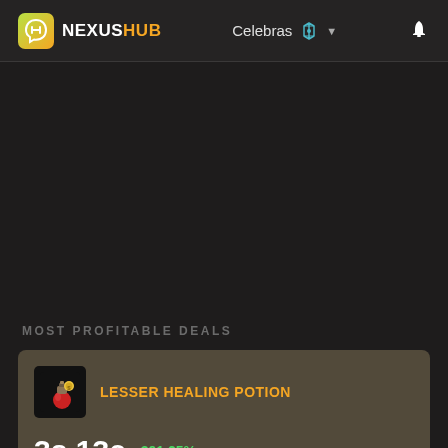NEXUSHUB — Celebras — notification bell
MOST PROFITABLE DEALS
LESSER HEALING POTION
3s 13c ↑391.25%
cheaper than Market Value